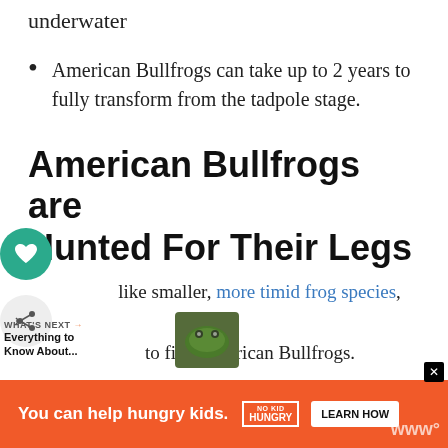underwater
American Bullfrogs can take up to 2 years to fully transform from the tadpole stage.
American Bullfrogs are Hunted For Their Legs
Unlike smaller, more timid frog species, it's to find American Bullfrogs.
Late spring and early summer are the best
[Figure (other): What's Next thumbnail image of frog]
You can help hungry kids. NO KID HUNGRY LEARN HOW